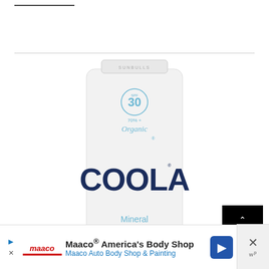[Figure (photo): COOLA Mineral sunscreen product tube with SPF 30, 70%+ Organic labeling, showing the brand name COOLA in large dark navy letters and 'Mineral' text at the bottom of the tube. The tube is white and photographed on a white background.]
[Figure (other): Advertisement banner for Maaco America's Body Shop with logo, text reading 'Maaco® America's Body Shop' and 'Maaco Auto Body Shop & Painting', with a blue navigation sign icon and close/arrow buttons.]